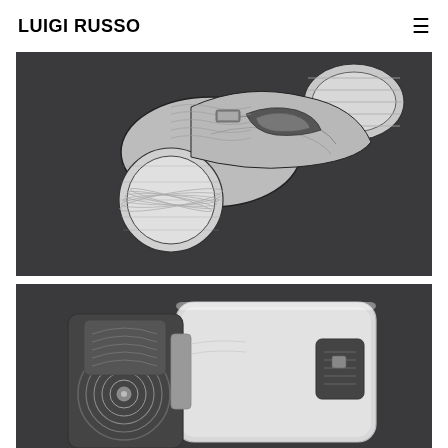LUIGI RUSSO
[Figure (illustration): 3D rendered mechanical/sci-fi component parts – camera-like device with cylindrical lens barrels and ribbed/knurled rings on dark gray background, top cropped view]
[Figure (illustration): 3D rendered mechanical/sci-fi device – boxy white and dark unit with circular concentric detail on left side and rectangular slot detail on right side, on dark gray background, partially cropped at bottom]